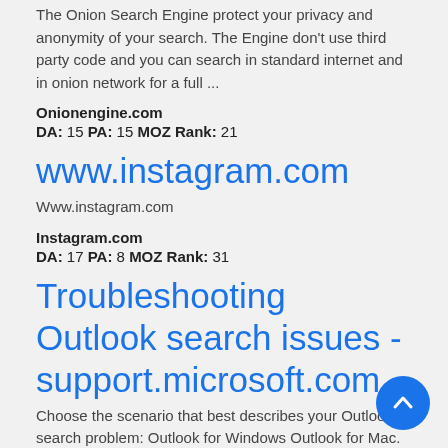The Onion Search Engine protect your privacy and anonymity of your search. The Engine don't use third party code and you can search in standard internet and in onion network for a full ...
Onionengine.com
DA: 15 PA: 15 MOZ Rank: 21
www.instagram.com
Www.instagram.com
Instagram.com
DA: 17 PA: 8 MOZ Rank: 31
Troubleshooting Outlook search issues - support.microsoft.com
Choose the scenario that best describes your Outlook search problem: Outlook for Windows Outlook for Mac. Outlook search returns no results. Outlook search returns incomplete results. ...
Support.microsoft.com
DA: 21 PA: 50 MOZ Rank: 43
Help Center - Search Public Records